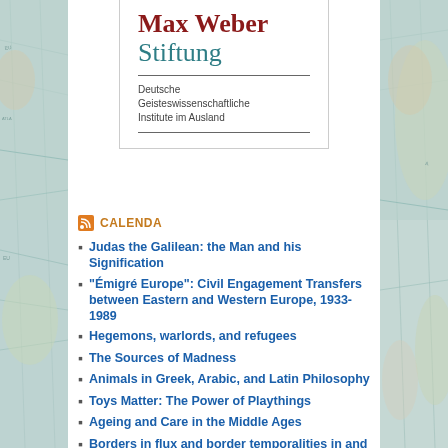[Figure (logo): Max Weber Stiftung logo with Deutsche Geisteswissenschaftliche Institute im Ausland subtitle]
CALENDA
Judas the Galilean: the Man and his Signification
“Émigré Europe”: Civil Engagement Transfers between Eastern and Western Europe, 1933-1989
Hegemons, warlords, and refugees
The Sources of Madness
Animals in Greek, Arabic, and Latin Philosophy
Toys Matter: The Power of Playthings
Ageing and Care in the Middle Ages
Borders in flux and border temporalities in and Beyond Europe
Generic Boundaries in South African Literature: a Revaluation